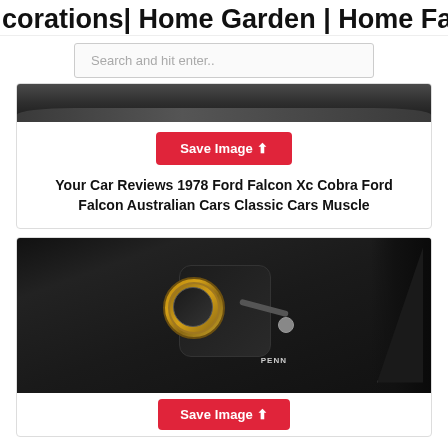orations| Home Garden | Home Fa...
Search and hit enter..
[Figure (photo): Partial view of a car, dark tones, top portion of vehicle visible]
Save Image
Your Car Reviews 1978 Ford Falcon Xc Cobra Ford Falcon Australian Cars Classic Cars Muscle
[Figure (photo): Close-up photo of a PENN brand fishing spinning reel, black and gold colors]
Save Image